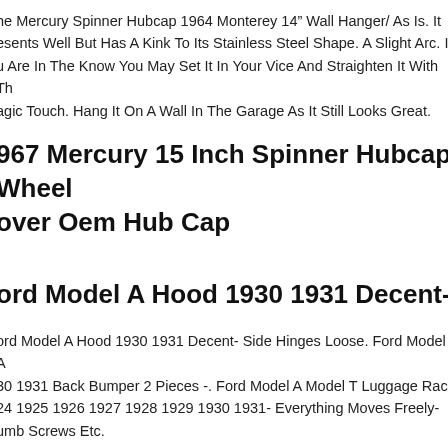he Mercury Spinner Hubcap 1964 Monterey 14" Wall Hanger/ As Is. It esents Well But Has A Kink To Its Stainless Steel Shape. A Slight Arc. If u Are In The Know You May Set It In Your Vice And Straighten It With Th agic Touch. Hang It On A Wall In The Garage As It Still Looks Great.
967 Mercury 15 Inch Spinner Hubcap Wheel over Oem Hub Cap
ord Model A Hood 1930 1931 Decent-
ord Model A Hood 1930 1931 Decent- Side Hinges Loose. Ford Model A 30 1931 Back Bumper 2 Pieces -. Ford Model A Model T Luggage Rack 24 1925 1926 1927 1928 1929 1930 1931- Everything Moves Freely- umb Screws Etc.